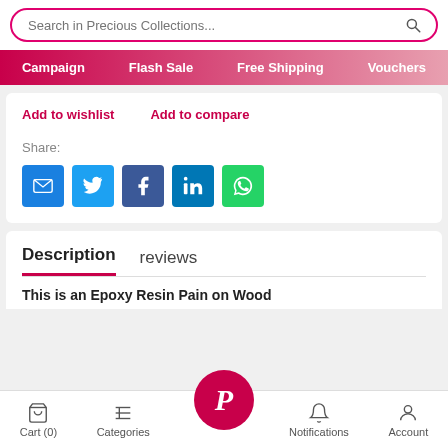[Figure (screenshot): Search bar with 'Search in Precious Collections...' placeholder and search icon, rounded border in pink/red]
Campaign   Flash Sale   Free Shipping   Vouchers
Add to wishlist   Add to compare
Share:
[Figure (infographic): Five social share buttons: Email (blue), Twitter (light blue), Facebook (dark blue), LinkedIn (blue), WhatsApp (green)]
Description   reviews
This is an Epoxy Resin Pain on Wood
Cart (0)   Categories   Notifications   Account